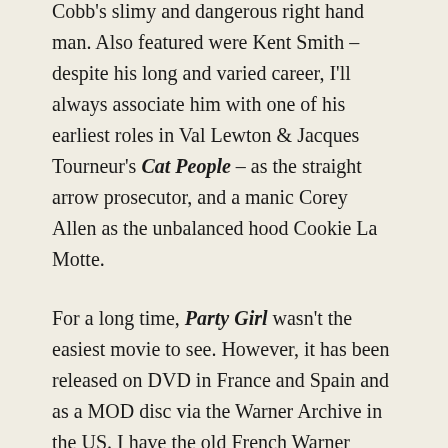Cobb's slimy and dangerous right hand man. Also featured were Kent Smith – despite his long and varied career, I'll always associate him with one of his earliest roles in Val Lewton & Jacques Tourneur's Cat People – as the straight arrow prosecutor, and a manic Corey Allen as the unbalanced hood Cookie La Motte.
For a long time, Party Girl wasn't the easiest movie to see. However, it has been released on DVD in France and Spain and as a MOD disc via the Warner Archive in the US. I have the old French Warner Brothers DVD which is pretty good. The film is presented in anamorphic scope and the print used for the transfer seems in good shape. There's plenty of clarity, the colors are strong and quite vibrant, and damage (if there is any) is so slight I can't say I noticed. There are no extra features on the disc – subtitles are optional and can be